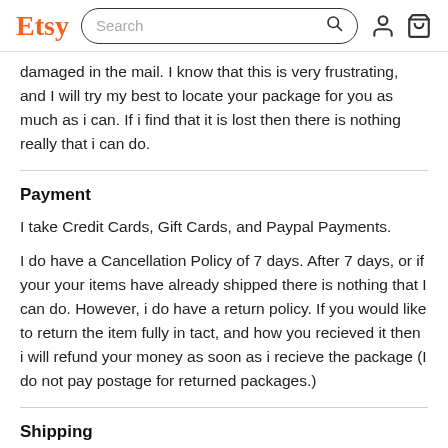Etsy Search
damaged in the mail. I know that this is very frustrating, and I will try my best to locate your package for you as much as i can. If i find that it is lost then there is nothing really that i can do.
Payment
I take Credit Cards, Gift Cards, and Paypal Payments.
I do have a Cancellation Policy of 7 days. After 7 days, or if your your items have already shipped there is nothing that I can do. However, i do have a return policy. If you would like to return the item fully in tact, and how you recieved it then i will refund your money as soon as i recieve the package (I do not pay postage for returned packages.)
Shipping